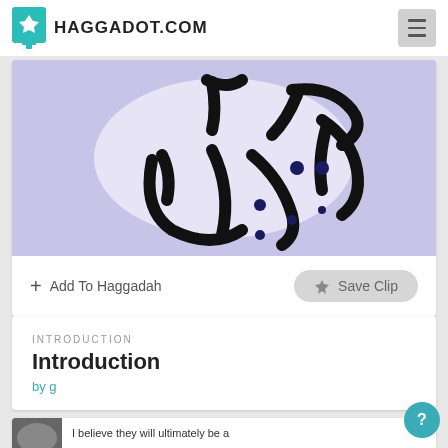HAGGADOT.COM
[Figure (illustration): Hebrew calligraphy text on a purple/lavender background with white glow effect]
Add To Haggadah
Save Clip
INTRODUCTION
Introduction
by g
I believe they will ultimately be a